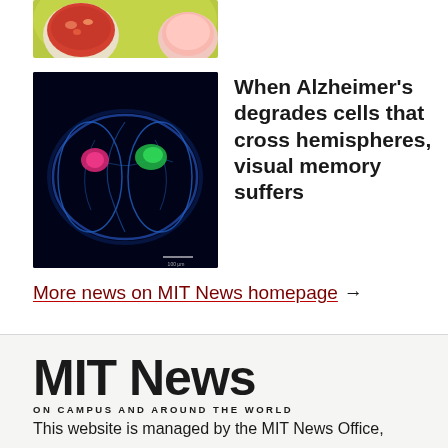[Figure (photo): Partial view of food bowls on a colorful background, cropped at top]
[Figure (photo): Fluorescence microscopy image of a mouse brain cross-section on black background, showing pink and green highlighted regions]
When Alzheimer’s degrades cells that cross hemispheres, visual memory suffers
More news on MIT News homepage →
MIT News ON CAMPUS AND AROUND THE WORLD
This website is managed by the MIT News Office,